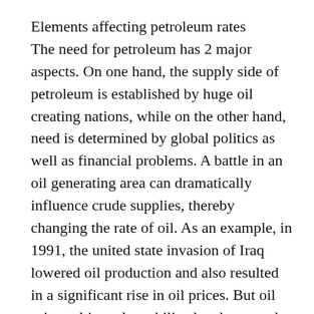Elements affecting petroleum rates
The need for petroleum has 2 major aspects. On one hand, the supply side of petroleum is established by huge oil creating nations, while on the other hand, need is determined by global politics as well as financial problems. A battle in an oil generating area can dramatically influence crude supplies, thereby changing the rate of oil. As an example, in 1991, the united state invasion of Iraq lowered oil production and also resulted in a significant rise in oil prices. But oil prices ultimately stabilized and returned to their previous degrees. anchor
Supply and demand both impact the rate of crude oil. Generally, OPEC nations established supply, but the USA is playing a larger role in the worldwide supply. American shale oil production is on the surge, as well as Saudi Arabia has re-doubled its